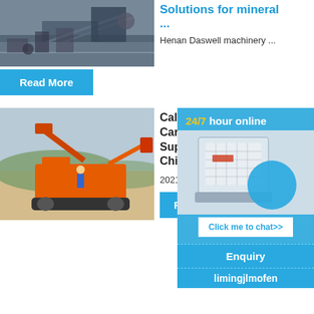[Figure (photo): Industrial mining conveyor and screening machinery at a quarry site]
Solutions for mineral ...
Henan Daswell machinery ...
Read More
[Figure (photo): Orange mobile impact crusher / screening machine in a quarry setting]
Calcium Carbonate Supplier in China
2021-5-1...
Read More
[Figure (other): 24/7 hour online chat widget with crusher machinery image and Click me to chat button]
Enquiry
limingjlmofen